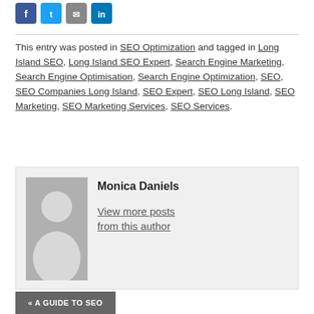[Figure (other): Row of four social sharing icon buttons: Facebook (blue), Twitter (light blue), Email (grey), LinkedIn (blue)]
This entry was posted in SEO Optimization and tagged in Long Island SEO, Long Island SEO Expert, Search Engine Marketing, Search Engine Optimisation, Search Engine Optimization, SEO, SEO Companies Long Island, SEO Expert, SEO Long Island, SEO Marketing, SEO Marketing Services, SEO Services.
Monica Daniels

View more posts from this author
« A GUIDE TO SEO